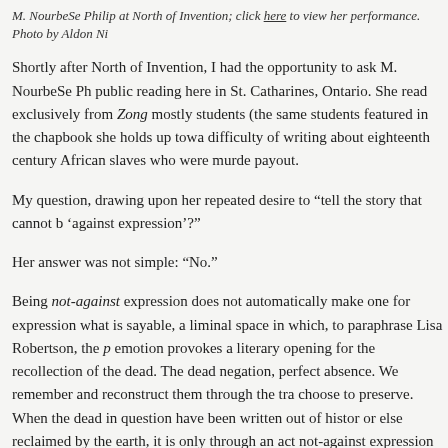M. NourbeSe Philip at North of Invention; click here to view her performance. Photo by Aldon Ni
Shortly after North of Invention, I had the opportunity to ask M. NourbeSe Ph... public reading here in St. Catharines, Ontario. She read exclusively from Zong... mostly students (the same students featured in the chapbook she holds up tow... difficulty of writing about eighteenth century African slaves who were murde... payout.
My question, drawing upon her repeated desire to “tell the story that cannot b… ‘against expression’?”
Her answer was not simple: “No.”
Being not-against expression does not automatically make one for expression... what is sayable, a liminal space in which, to paraphrase Lisa Robertson, the p… emotion provokes a literary opening for the recollection of the dead. The dead… negation, perfect absence. We remember and reconstruct them through the tr… choose to preserve. When the dead in question have been written out of histor… or else reclaimed by the earth, it is only through an act not-against expression… literary.